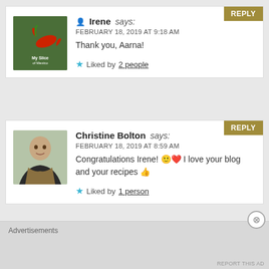Irene says: FEBRUARY 18, 2019 AT 9:18 AM
Thank you, Aarna!
Liked by 2 people
Christine Bolton says: FEBRUARY 18, 2019 AT 8:59 AM
Congratulations Irene! 🙂❤️ I love your blog and your recipes 👍
Liked by 1 person
Advertisements